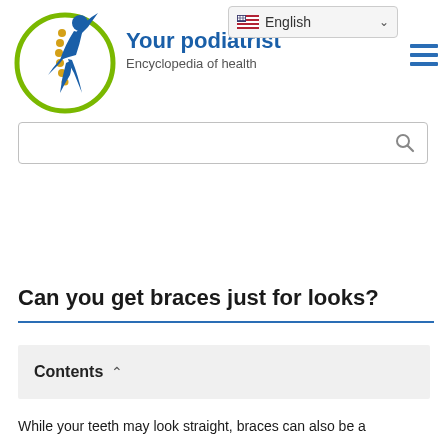[Figure (logo): Your Podiatrist website logo: a blue human figure in motion inside a green circle with dotted spine lines]
Your podiatrist
Encyclopedia of health
English (language selector dropdown)
[Figure (screenshot): Search bar with magnifying glass icon]
Can you get braces just for looks?
Contents
While your teeth may look straight, braces can also be a